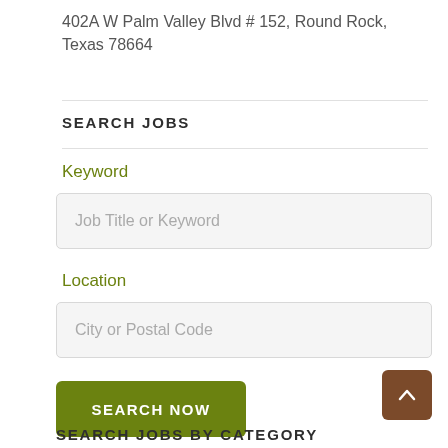402A W Palm Valley Blvd # 152, Round Rock, Texas 78664
SEARCH JOBS
Keyword
Job Title or Keyword
Location
City or Postal Code
SEARCH NOW
SEARCH JOBS BY CATEGORY